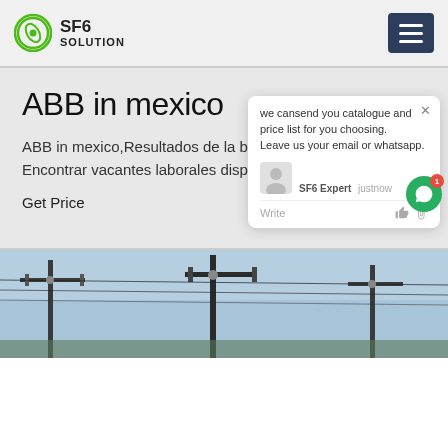SF6 SOLUTION
ABB in mexico
ABB in mexico,Resultados de la bú... Encontrar vacantes laborales disponi... B
Get Price
[Figure (screenshot): Chat popup overlay with message: we cansend you catalogue and price list for you choosing. Leave us your email or whatsapp. SF6 Expert justnow. Write input area with like and attachment icons.]
[Figure (photo): Aerial electrical power transmission infrastructure with poles and cables against a blue sky.]